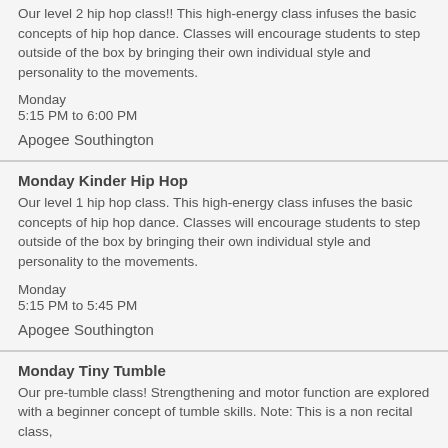Our level 2 hip hop class!! This high-energy class infuses the basic concepts of hip hop dance. Classes will encourage students to step outside of the box by bringing their own individual style and personality to the movements.
Monday
5:15 PM to 6:00 PM
Apogee Southington
Monday Kinder Hip Hop
Our level 1 hip hop class. This high-energy class infuses the basic concepts of hip hop dance. Classes will encourage students to step outside of the box by bringing their own individual style and personality to the movements.
Monday
5:15 PM to 5:45 PM
Apogee Southington
Monday Tiny Tumble
Our pre-tumble class! Strengthening and motor function are explored with a beginner concept of tumble skills. Note: This is a non recital class,
Monday
5:15 PM to 5:45 PM
Apogee Southington